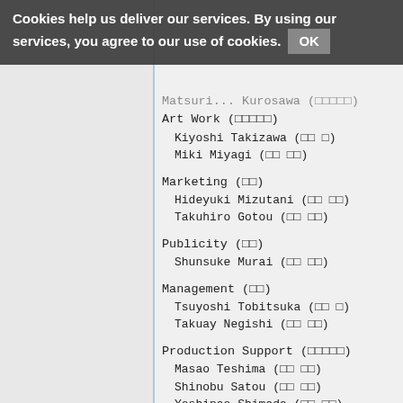Cookies help us deliver our services. By using our services, you agree to our use of cookies. OK
Matsuri... Kurosawa (truncated at top)
Art Work (美術)
Kiyoshi Takizawa (瀧澤 賢)
Miki Miyagi (宮城 美希)
Marketing (宣伝)
Hideyuki Mizutani (水谷 秀行)
Takuhiro Gotou (後藤 卓宏)
Publicity (広報)
Shunsuke Murai (村井 俊輔)
Management (制作)
Tsuyoshi Tobitsuka (飛塚 剛)
Takuay Negishi (根岸 拓哉)
Production Support (制作協力)
Masao Teshima (手島 正夫)
Shinobu Satou (佐藤 忍)
Yoshinao Shimada (島田 嘉直)
Yoshihisa Oobuchi (大渕 義久)
Kouji Yugeta (弓削田 浩二)
Shinji Yoshikawa (吉川 真二)
Asmik Ace Entertainment (truncated)